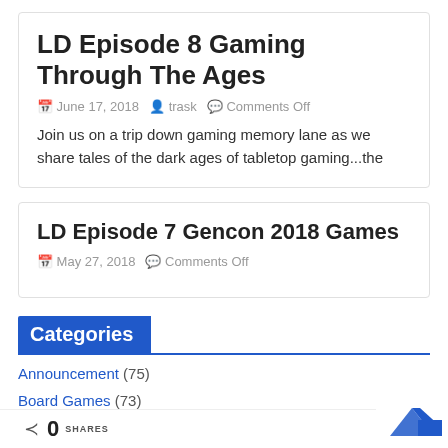LD Episode 8 Gaming Through The Ages
June 17, 2018  trask  Comments Off
Join us on a trip down gaming memory lane as we share tales of the dark ages of tabletop gaming...the
LD Episode 7 Gencon 2018 Games
May 27, 2018  Comments Off
Categories
Announcement (75)
Board Games (73)
0 SHARES